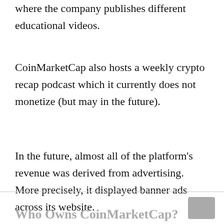where the company publishes different educational videos.
CoinMarketCap also hosts a weekly crypto recap podcast which it currently does not monetize (but may in the future).
In the future, almost all of the platform's revenue was derived from advertising. More precisely, it displayed banner ads across its website.
Who Owns CoinMarketCap?